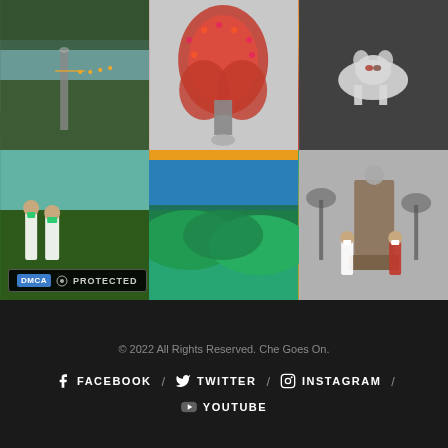[Figure (photo): 6-photo grid showing various scenes: urban park at dusk, large guitar sculpture covered in flowers with person posing, puppy lying on dark gravel, masked people outdoors, green hillside landscape with blue sky, monument with people posing]
DMCA PROTECTED
© 2022 All Rights Reserved. Che Goes On.
FACEBOOK
TWITTER
INSTAGRAM
YOUTUBE